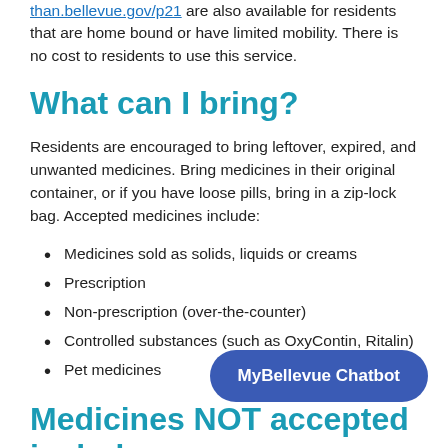are also available for residents that are home bound or have limited mobility. There is no cost to residents to use this service.
What can I bring?
Residents are encouraged to bring leftover, expired, and unwanted medicines. Bring medicines in their original container, or if you have loose pills, bring in a zip-lock bag. Accepted medicines include:
Medicines sold as solids, liquids or creams
Prescription
Non-prescription (over-the-counter)
Controlled substances (such as OxyContin, Ritalin)
Pet medicines
Medicines NOT accepted include:
Herbal remedies